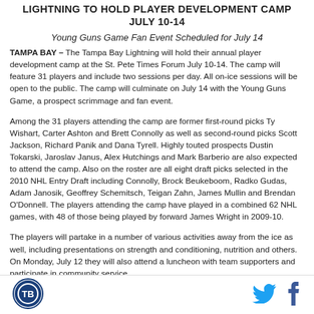LIGHTNING TO HOLD PLAYER DEVELOPMENT CAMP JULY 10-14
Young Guns Game Fan Event Scheduled for July 14
TAMPA BAY – The Tampa Bay Lightning will hold their annual player development camp at the St. Pete Times Forum July 10-14. The camp will feature 31 players and include two sessions per day. All on-ice sessions will be open to the public. The camp will culminate on July 14 with the Young Guns Game, a prospect scrimmage and fan event.
Among the 31 players attending the camp are former first-round picks Ty Wishart, Carter Ashton and Brett Connolly as well as second-round picks Scott Jackson, Richard Panik and Dana Tyrell. Highly touted prospects Dustin Tokarski, Jaroslav Janus, Alex Hutchings and Mark Barberio are also expected to attend the camp. Also on the roster are all eight draft picks selected in the 2010 NHL Entry Draft including Connolly, Brock Beukeboom, Radko Gudas, Adam Janosik, Geoffrey Schemitsch, Teigan Zahn, James Mullin and Brendan O'Donnell. The players attending the camp have played in a combined 62 NHL games, with 48 of those being played by forward James Wright in 2009-10.
The players will partake in a number of various activities away from the ice as well, including presentations on strength and conditioning, nutrition and others. On Monday, July 12 they will also attend a luncheon with team supporters and participate in community service
[Figure (logo): Tampa Bay Lightning circular logo in blue and white]
[Figure (logo): Twitter bird icon in blue]
[Figure (logo): Facebook f icon in blue]